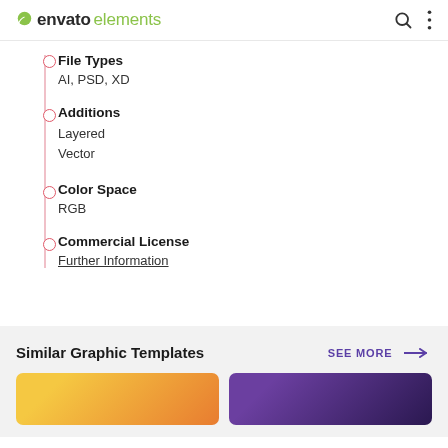envato elements
File Types
AI, PSD, XD
Additions
Layered
Vector
Color Space
RGB
Commercial License
Further Information
Similar Graphic Templates
SEE MORE →
[Figure (screenshot): Yellow/orange gradient thumbnail image]
[Figure (screenshot): Dark purple thumbnail image]